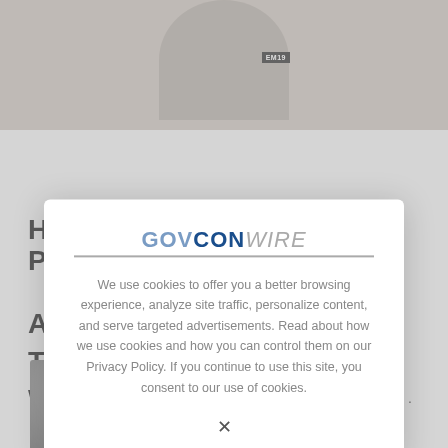[Figure (screenshot): Screenshot of GovConWire website showing a news article about HII Technical Solutions President, with a cookie consent modal overlay. The background shows a partial photo of a person in formal attire, a blue NEWS tag, a bold article title 'HII Technical Solutions President', partial text letters visible behind the modal, and a bottom photo of another person. The modal contains the GovConWire logo and a cookie notice.]
NEWS
HII Technical Solutions President
We use cookies to offer you a better browsing experience, analyze site traffic, personalize content, and serve targeted advertisements. Read about how we use cookies and how you can control them on our Privacy Policy. If you continue to use this site, you consent to our use of cookies.